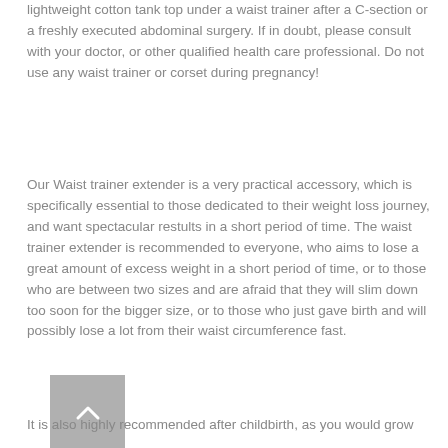lightweight cotton tank top under a waist trainer after a C-section or a freshly executed abdominal surgery. If in doubt, please consult with your doctor, or other qualified health care professional. Do not use any waist trainer or corset during pregnancy!
Our Waist trainer extender is a very practical accessory, which is specifically essential to those dedicated to their weight loss journey, and want spectacular restults in a short period of time. The waist trainer extender is recommended to everyone, who aims to lose a great amount of excess weight in a short period of time, or to those who are between two sizes and are afraid that they will slim down too soon for the bigger size, or to those who just gave birth and will possibly lose a lot from their waist circumference fast.
It is also highly recommended after childbirth, as you would grow